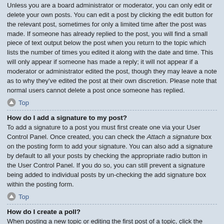Unless you are a board administrator or moderator, you can only edit or delete your own posts. You can edit a post by clicking the edit button for the relevant post, sometimes for only a limited time after the post was made. If someone has already replied to the post, you will find a small piece of text output below the post when you return to the topic which lists the number of times you edited it along with the date and time. This will only appear if someone has made a reply; it will not appear if a moderator or administrator edited the post, though they may leave a note as to why they've edited the post at their own discretion. Please note that normal users cannot delete a post once someone has replied.
Top
How do I add a signature to my post?
To add a signature to a post you must first create one via your User Control Panel. Once created, you can check the Attach a signature box on the posting form to add your signature. You can also add a signature by default to all your posts by checking the appropriate radio button in the User Control Panel. If you do so, you can still prevent a signature being added to individual posts by un-checking the add signature box within the posting form.
Top
How do I create a poll?
When posting a new topic or editing the first post of a topic, click the “Poll creation” tab below the main posting form; if you cannot see this, you do not have appropriate permissions to create polls. Enter a title and at least two